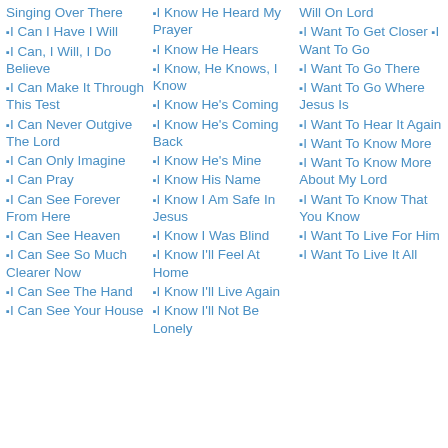Singing Over There
I Can I Have I Will
I Can, I Will, I Do Believe
I Can Make It Through This Test
I Can Never Outgive The Lord
I Can Only Imagine
I Can Pray
I Can See Forever From Here
I Can See Heaven
I Can See So Much Clearer Now
I Can See The Hand
I Can See Your House
I Know He Heard My Prayer
I Know He Hears
I Know, He Knows, I Know
I Know He's Coming
I Know He's Coming Back
I Know He's Mine
I Know His Name
I Know I Am Safe In Jesus
I Know I Was Blind
I Know I'll Feel At Home
I Know I'll Live Again
I Know I'll Not Be Lonely
Will On Lord
I Want To Get Closer I Want To Go
I Want To Go There
I Want To Go Where Jesus Is
I Want To Hear It Again
I Want To Know More
I Want To Know More About My Lord
I Want To Know That You Know
I Want To Live For Him
I Want To Live It All